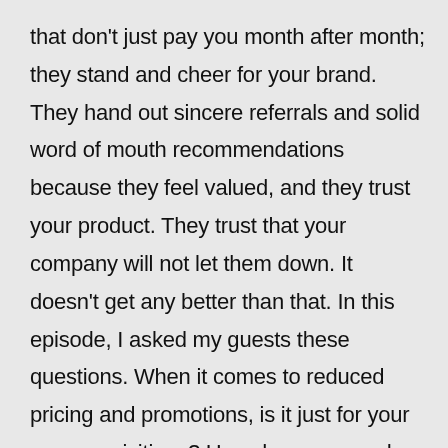that don't just pay you month after month; they stand and cheer for your brand. They hand out sincere referrals and solid word of mouth recommendations because they feel valued, and they trust your product. They trust that your company will not let them down. It doesn't get any better than that. In this episode, I asked my guests these questions. When it comes to reduced pricing and promotions, is it just for your new acquisitions? How do you reward customer shoutouts, milestones, loyalty and referrals. Do you monitor social media for positive comments, and when you see them, what do you do? And what is the employee's role at the advocacy stage? As my guests answered the questions, they admitted they don't have all the answers for this stop on the journey. There are